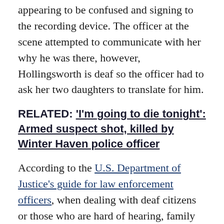appearing to be confused and signing to the recording device. The officer at the scene attempted to communicate with her why he was there, however, Hollingsworth is deaf so the officer had to ask her two daughters to translate for him.
RELATED: 'I'm going to die tonight': Armed suspect shot, killed by Winter Haven police officer
According to the U.S. Department of Justice's guide for law enforcement officers, when dealing with deaf citizens or those who are hard of hearing, family members should never be used to interpret unless it is an emergency.
"DO NOT ask a family member or friend to interpret for a deaf individual unless it is urgent to communicate immediately and that is the only option. In